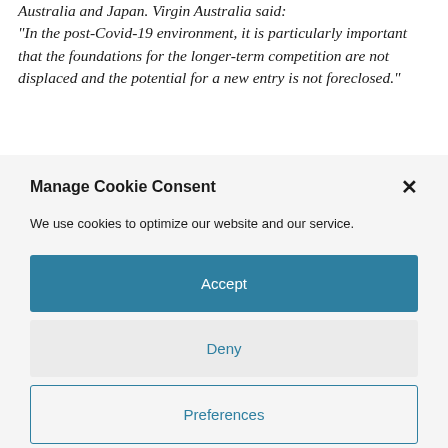Australia and Japan. Virgin Australia said: "In the post-Covid-19 environment, it is particularly important that the foundations for the longer-term competition are not displaced and the potential for a new entry is not foreclosed."
Manage Cookie Consent
We use cookies to optimize our website and our service.
Accept
Deny
Preferences
Cookie Policy  Privacy Policy